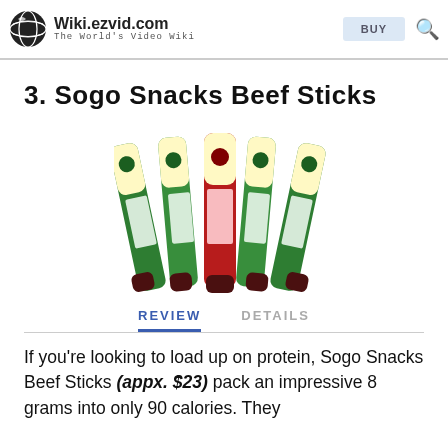Wiki.ezvid.com — The World's Video Wiki
3. Sogo Snacks Beef Sticks
[Figure (photo): Multiple Sogo Snacks Beef Sticks packages fanned out, showing red and green packaging with nutritional labels and a logo.]
REVIEW   DETAILS
If you're looking to load up on protein, Sogo Snacks Beef Sticks (appx. $23) pack an impressive 8 grams into only 90 calories. They